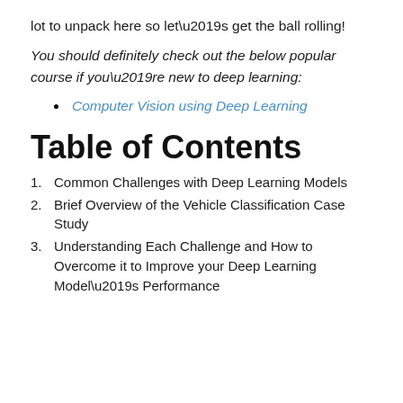lot to unpack here so let’s get the ball rolling!
You should definitely check out the below popular course if you’re new to deep learning:
Computer Vision using Deep Learning
Table of Contents
1. Common Challenges with Deep Learning Models
2. Brief Overview of the Vehicle Classification Case Study
3. Understanding Each Challenge and How to Overcome it to Improve your Deep Learning Model’s Performance